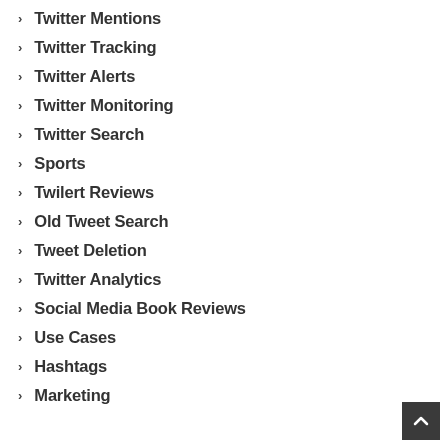Twitter Mentions
Twitter Tracking
Twitter Alerts
Twitter Monitoring
Twitter Search
Sports
Twilert Reviews
Old Tweet Search
Tweet Deletion
Twitter Analytics
Social Media Book Reviews
Use Cases
Hashtags
Marketing